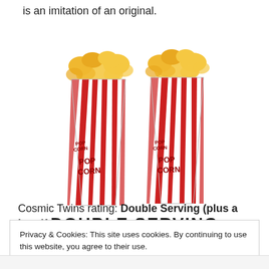is an imitation of an original.
[Figure (illustration): Two red and white striped popcorn buckets filled with popcorn, with the logo 'DOUBLE SERVING' below them in bold stylized text.]
Cosmic Twins rating: Double Serving (plus a handful of
Privacy & Cookies: This site uses cookies. By continuing to use this website, you agree to their use.
To find out more, including how to control cookies, see here: Cookie Policy
[Close and accept]